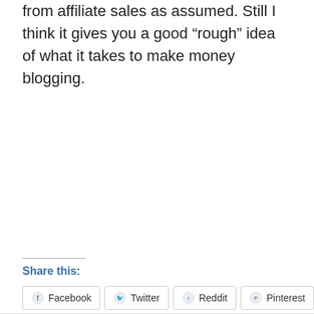from affiliate sales as assumed. Still I think it gives you a good “rough” idea of what it takes to make money blogging.
Share this:
Facebook
Twitter
Reddit
Pinterest